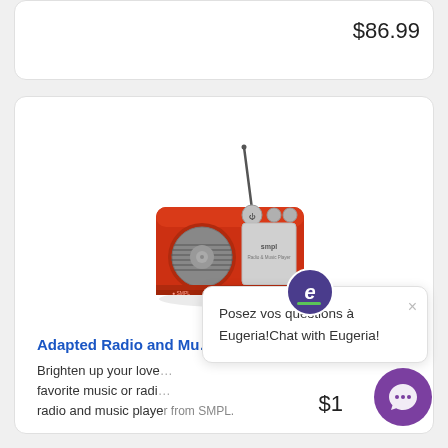$86.99
[Figure (photo): Red retro-style adapted radio/music player with antenna, circular speaker grille on left, and silver panel with brand name on right]
Adapted Radio and Mu...
Brighten up your love... favorite music or radi... radio and music player from SMPL.
Posez vos questions à Eugeria!Chat with Eugeria!
$1...